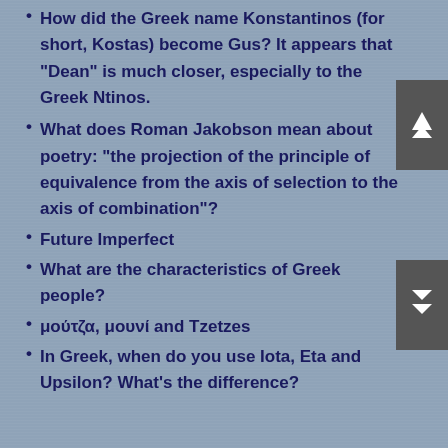How did the Greek name Konstantinos (for short, Kostas) become Gus? It appears that “Dean” is much closer, especially to the Greek Ntinos.
What does Roman Jakobson mean about poetry: "the projection of the principle of equivalence from the axis of selection to the axis of combination" ?
Future Imperfect
What are the characteristics of Greek people?
μούτζα, μουνί and Tzetzes
In Greek, when do you use Iota, Eta and Upsilon? What’s the difference?